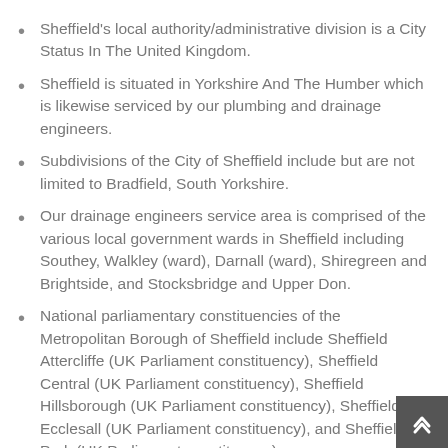Sheffield's local authority/administrative division is a City Status In The United Kingdom.
Sheffield is situated in Yorkshire And The Humber which is likewise serviced by our plumbing and drainage engineers.
Subdivisions of the City of Sheffield include but are not limited to Bradfield, South Yorkshire.
Our drainage engineers service area is comprised of the various local government wards in Sheffield including Southey, Walkley (ward), Darnall (ward), Shiregreen and Brightside, and Stocksbridge and Upper Don.
National parliamentary constituencies of the Metropolitan Borough of Sheffield include Sheffield Attercliffe (UK Parliament constituency), Sheffield Central (UK Parliament constituency), Sheffield Hillsborough (UK Parliament constituency), Sheffield Ecclesall (UK Parliament constituency), and Sheffield Park (UK Parliament constituency).
The Metropolitan Borough of Sheffield additionally contains the hamlets such as Abbeydale Industrial Hamlet its boundaries and our drainage consultants service area...